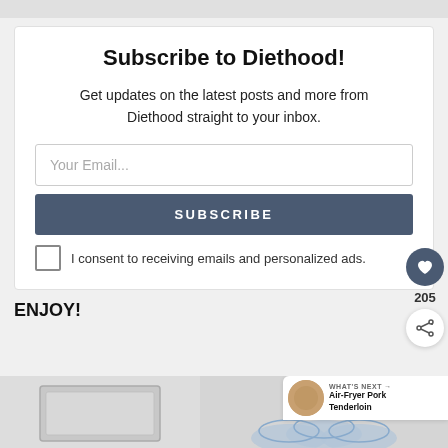Subscribe to Diethood!
Get updates on the latest posts and more from Diethood straight to your inbox.
Your Email...
SUBSCRIBE
I consent to receiving emails and personalized ads.
ENJOY!
[Figure (other): What's Next navigation element showing Air-Fryer Pork Tenderloin with thumbnail image]
[Figure (photo): Baking sheet at bottom left]
[Figure (photo): Glass bowls set at bottom right]